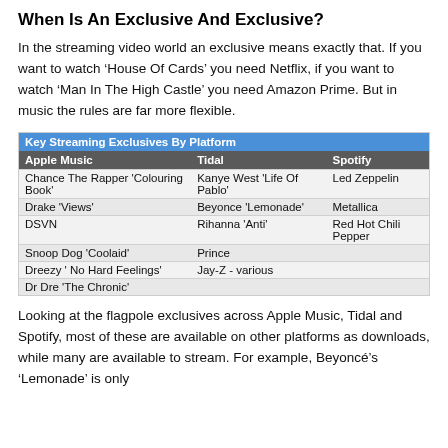When Is An Exclusive And Exclusive?
In the streaming video world an exclusive means exactly that. If you want to watch ‘House Of Cards’ you need Netflix, if you want to watch ‘Man In The High Castle’ you need Amazon Prime. But in music the rules are far more flexible.
| Apple Music | Tidal | Spotify |
| --- | --- | --- |
| Chance The Rapper 'Colouring Book' | Kanye West 'Life Of Pablo' | Led Zeppelin |
| Drake 'Views' | Beyonce 'Lemonade' | Metallica |
| DSVN | Rihanna 'Anti' | Red Hot Chili Pepper |
| Snoop Dog 'Coolaid' | Prince |  |
| Dreezy ' No Hard Feelings' | Jay-Z - various |  |
| Dr Dre 'The Chronic' |  |  |
Looking at the flagpole exclusives across Apple Music, Tidal and Spotify, most of these are available on other platforms as downloads, while many are available to stream. For example, Beyoncé’s ‘Lemonade’ is only